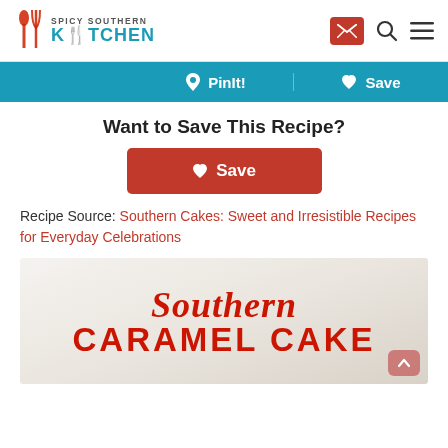Spicy Southern Kitchen
PinIt! Save
Want to Save This Recipe?
Save
Recipe Source: Southern Cakes: Sweet and Irresistible Recipes for Everyday Celebrations
[Figure (illustration): Southern Caramel Cake text banner over a light gray/beige background with script 'Southern' and block letters 'CARAMEL CAKE' in red]